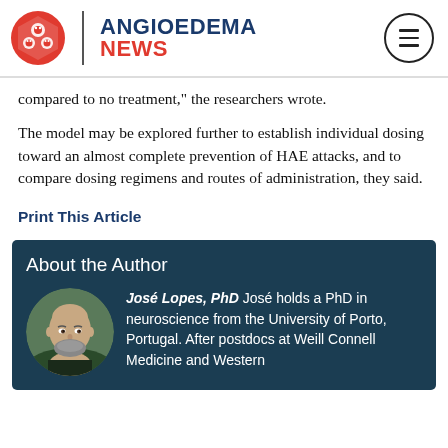ANGIOEDEMA NEWS
compared to no treatment," the researchers wrote.
The model may be explored further to establish individual dosing toward an almost complete prevention of HAE attacks, and to compare dosing regimens and routes of administration, they said.
Print This Article
About the Author
José Lopes, PhD  José holds a PhD in neuroscience from the University of Porto, Portugal. After postdocs at Weill Connell Medicine and Western